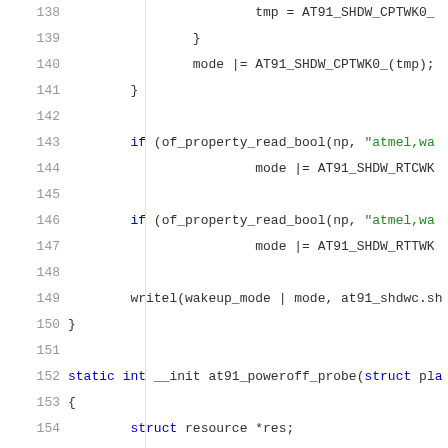[Figure (screenshot): Source code listing showing lines 138-159 of a C file, featuring AT91 power management code with functions like of_property_read_bool and at91_poweroff_probe. Syntax highlighted with blue keywords, green strings, and black identifiers on white background.]